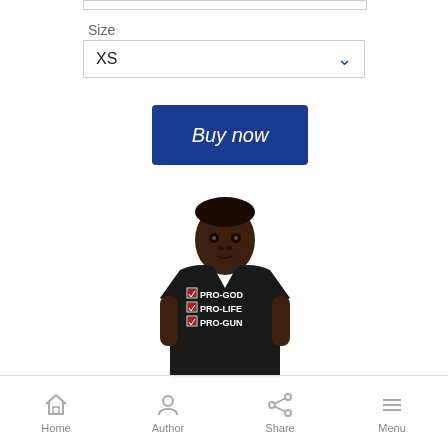Size
XS
Buy now
[Figure (photo): Man wearing a black t-shirt with text PRO-GOD, PRO-LIFE, PRO-GUN with checkbox icons]
Home   Author   Share   Menu